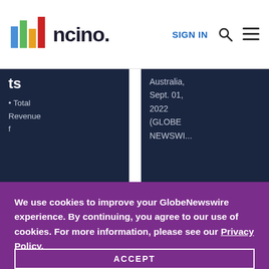[Figure (logo): nCino logo with colorful bar chart icon and 'ncino.' wordmark]
SIGN IN
ts
· Total Revenue f...
Australia, Sept. 01, 2022 (GLOBE NEWSWI...
We use cookies to improve your GlobeNewswire experience. By continuing, you agree to our use of cookies. For more information, please see our Privacy Policy.
ACCEPT